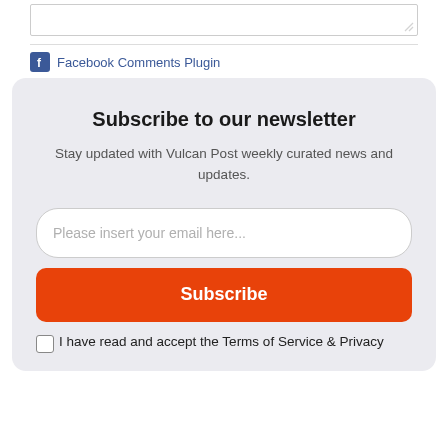[Figure (screenshot): Textarea input box with resize handle at bottom-right corner]
Facebook Comments Plugin
Subscribe to our newsletter
Stay updated with Vulcan Post weekly curated news and updates.
[Figure (screenshot): Email input field with placeholder text: Please insert your email here...]
Subscribe
I have read and accept the Terms of Service & Privacy